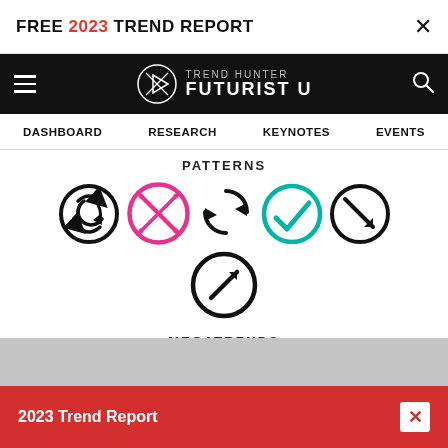FREE 2023 TREND REPORT
[Figure (logo): Trend Hunter Futurist U logo with navigation bar showing hamburger menu, logo, and search icon]
DASHBOARD | RESEARCH | KEYNOTES | EVENTS
[Figure (infographic): Patterns section showing 6 circular icons: rotation arrow (black), X in circle (red/pink), refresh arrows (black), checkmark in circle (teal), diagonal arrow down-right (black), diagonal arrow up-right (black). Below: Megatrends section with 3 icons: roller coaster (teal), puzzle piece (purple/blue), compass (red/pink).]
2023 Trend Report